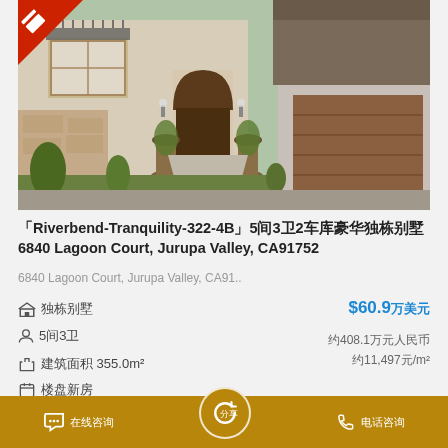[Figure (photo): Exterior photo of a two-story stucco home with arched doorway, tan and stone facade, landscaping, and a brown garage door at 6840 Lagoon Court, Jurupa Valley CA]
「Riverbend-Tranquility-322-4B」5间3卫2车库豪华独栋别墅6840 Lagoon Court, Jurupa Valley, CA91752
6840 Lagoon Court, Jurupa Valley, CA91..
🏠 独栋别墅
👤 5间3卫
⤢ 建筑面积 355.0m²
📅 楼盘新房
$60.9万美元
约408.1万元人民币
约11,497元/m²